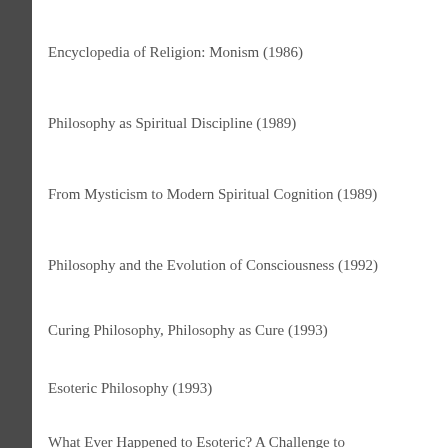Encyclopedia of Religion: Monism (1986)
Philosophy as Spiritual Discipline (1989)
From Mysticism to Modern Spiritual Cognition (1989)
Philosophy and the Evolution of Consciousness (1992)
Curing Philosophy, Philosophy as Cure (1993)
Esoteric Philosophy (1993)
What Ever Happened to Esoteric? A Challenge to Swedenborgians and Others from the Esoteric Tradition (1994)
The Need for Philosophical and Spiritual Dialogue: